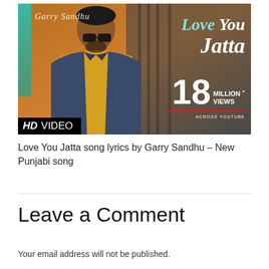[Figure (photo): Thumbnail image for 'Love You Jatta' music video by Garry Sandhu. Shows a man wearing sunglasses and a yellow sweater with a denim jacket. Text overlay includes: 'Garry Sandhu', 'Love You Jatta', '18 MILLION+ VIEWS ACROSS YOUTUBE', 'HD VIDEO' badge.]
Love You Jatta song lyrics by Garry Sandhu – New Punjabi song
Leave a Comment
Your email address will not be published.